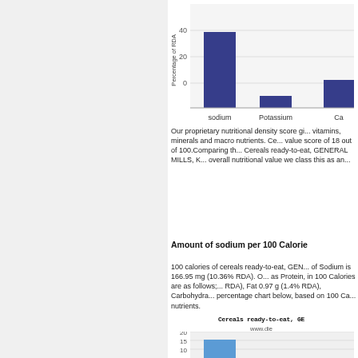[Figure (bar-chart): Percentage of RDA]
Our proprietary nutritional density score gives equal weight to vitamins, minerals and macro nutrients. Cereals ready-to-eat, GENERAL MILLS, KIX has a nutritional value score of 18 out of 100.Comparing the Calories from Cereals ready-to-eat, GENERAL MILLS, KIX for overall nutritional value we class this as an average food.
Amount of sodium per 100 Calories
100 calories of cereals ready-to-eat, GENERAL MILLS, KIX contains amount of Sodium is 166.95 mg (10.36% RDA). Other important nutrients, such as Protein, in 100 Calories are as follows; Protein 2.16 g (4.28% RDA), Fat 0.97 g (1.4% RDA), Carbohydrate 23.36 g. See the percentage chart below, based on 100 Calories, for the main macro and micro nutrients.
Cereals ready-to-eat, GE...
www.die...
[Figure (bar-chart): Cereals ready-to-eat, GE...]